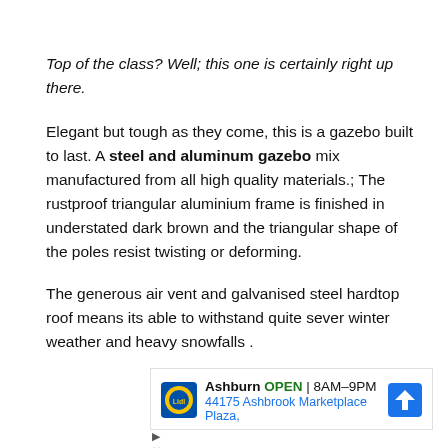Top of the class? Well; this one is certainly right up there.
Elegant but tough as they come, this is a gazebo built to last. A steel and aluminum gazebo mix manufactured from all high quality materials.; The rustproof triangular aluminium frame is finished in understated dark brown and the triangular shape of the poles resist twisting or deforming.
The generous air vent and galvanised steel hardtop roof means its able to withstand quite sever winter weather and heavy snowfalls .
[Figure (other): Advertisement for Lidl store in Ashburn showing OPEN status, hours 8AM-9PM, and address 44175 Ashbrook Marketplace Plaza, with navigation icon]